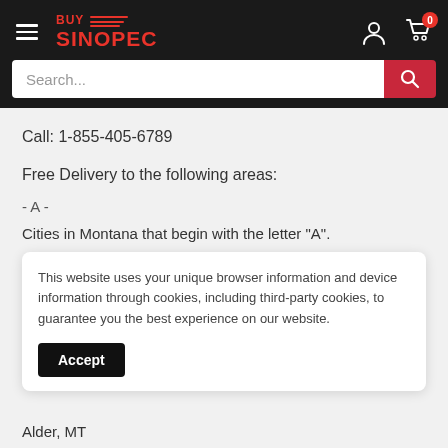BUY SINOPEC
Search...
Call: 1-855-405-6789
Free Delivery to the following areas:
- A -
Cities in Montana that begin with the letter "A".
This website uses your unique browser information and device information through cookies, including third-party cookies, to guarantee you the best experience on our website.
Accept
Alder, MT